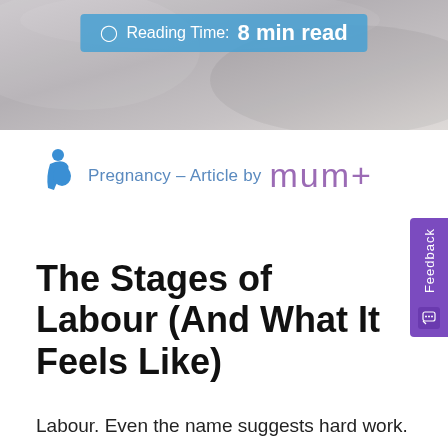[Figure (photo): Hero image showing soft fabric or skin texture in grey/pink tones with a reading time overlay bar showing '8 min read']
Reading Time: 8 min read
Pregnancy – Article by mum+
The Stages of Labour (And What It Feels Like)
Labour. Even the name suggests hard work. Let's